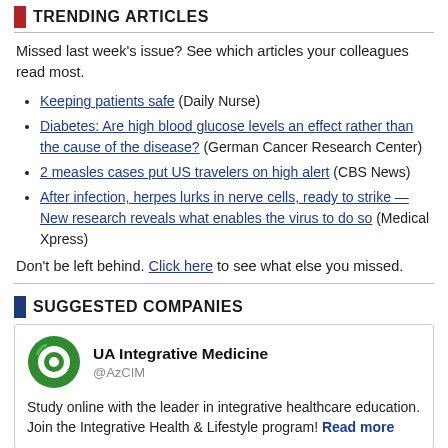TRENDING ARTICLES
Missed last week's issue? See which articles your colleagues read most.
Keeping patients safe (Daily Nurse)
Diabetes: Are high blood glucose levels an effect rather than the cause of the disease? (German Cancer Research Center)
2 measles cases put US travelers on high alert (CBS News)
After infection, herpes lurks in nerve cells, ready to strike — New research reveals what enables the virus to do so (Medical Xpress)
Don't be left behind. Click here to see what else you missed.
SUGGESTED COMPANIES
UA Integrative Medicine @AzCIM Study online with the leader in integrative healthcare education. Join the Integrative Health & Lifestyle program! Read more